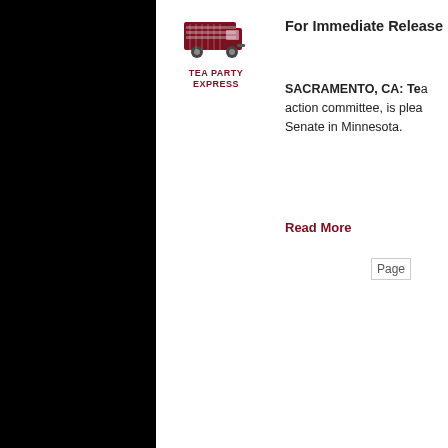[Figure (logo): Tea Party Express logo: dark red/maroon truck with horizontal stripes, text TEA PARTY EXPRESS below]
For Immediate Release
SACRAMENTO, CA: Tea Party Express, a political action committee, is pleased... Senate in Minnesota.
Read More
Page